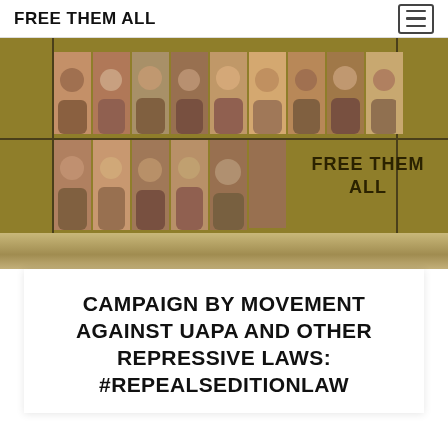FREE THEM ALL
[Figure (photo): Banner image showing a collage of portraits of activists/detainees on a golden/olive background with 'FREE THEM ALL' text overlay and grid lines]
CAMPAIGN BY MOVEMENT AGAINST UAPA AND OTHER REPRESSIVE LAWS: #REPEALSEDITIONLAW